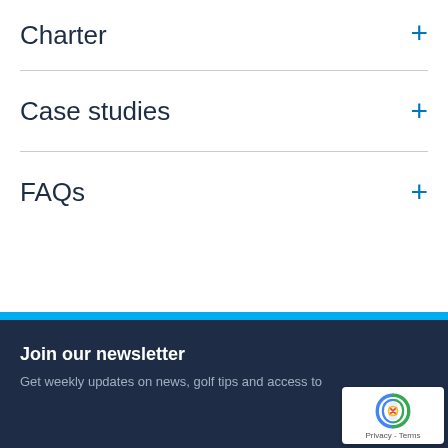Charter
Case studies
FAQs
Join our newsletter
Get weekly updates on news, golf tips and access to